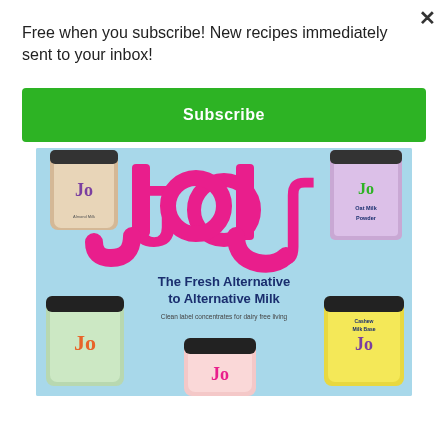Free when you subscribe! New recipes immediately sent to your inbox!
Subscribe
[Figure (photo): JOL brand advertisement showing multiple product jars (almond milk base, oat milk powder, cashew milk base) on a light blue background with the JOL logo in pink and tagline 'The Fresh Alternative to Alternative Milk. Clean label concentrates for dairy free living.']